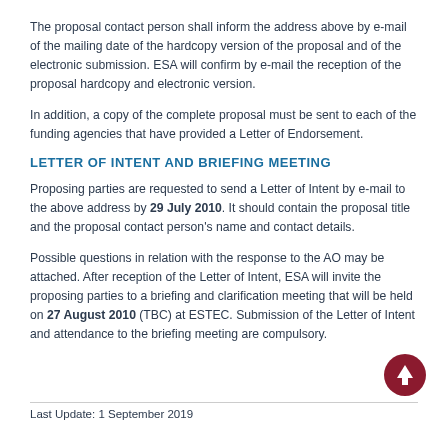The proposal contact person shall inform the address above by e-mail of the mailing date of the hardcopy version of the proposal and of the electronic submission. ESA will confirm by e-mail the reception of the proposal hardcopy and electronic version.
In addition, a copy of the complete proposal must be sent to each of the funding agencies that have provided a Letter of Endorsement.
LETTER OF INTENT AND BRIEFING MEETING
Proposing parties are requested to send a Letter of Intent by e-mail to the above address by 29 July 2010. It should contain the proposal title and the proposal contact person's name and contact details.
Possible questions in relation with the response to the AO may be attached. After reception of the Letter of Intent, ESA will invite the proposing parties to a briefing and clarification meeting that will be held on 27 August 2010 (TBC) at ESTEC. Submission of the Letter of Intent and attendance to the briefing meeting are compulsory.
Last Update: 1 September 2019